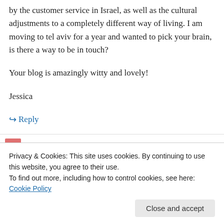by the customer service in Israel, as well as the cultural adjustments to a completely different way of living. I am moving to tel aviv for a year and wanted to pick your brain, is there a way to be in touch?
Your blog is amazingly witty and lovely!
Jessica
↪ Reply
reform Jew so I feel like I won't make aliyah to
Privacy & Cookies: This site uses cookies. By continuing to use this website, you agree to their use. To find out more, including how to control cookies, see here: Cookie Policy